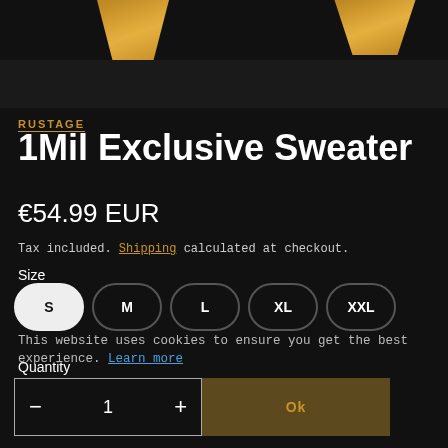[Figure (photo): Dark product photo of a black sweater on a hanger with gold/amber colored hanger arms visible at top]
RUSTAGE
1Mil Exclusive Sweater
€54.99 EUR
Tax included. Shipping calculated at checkout.
Size
S M L XL XXL
This website uses cookies to ensure you get the best experience. Learn more
Quantity
− 1 + Ok